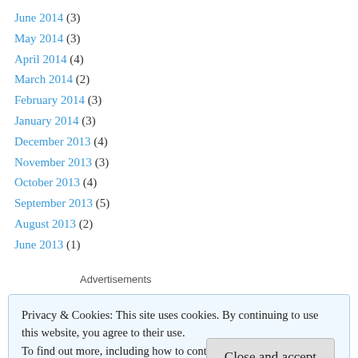June 2014 (3)
May 2014 (3)
April 2014 (4)
March 2014 (2)
February 2014 (3)
January 2014 (3)
December 2013 (4)
November 2013 (3)
October 2013 (4)
September 2013 (5)
August 2013 (2)
June 2013 (1)
Advertisements
Privacy & Cookies: This site uses cookies. By continuing to use this website, you agree to their use.
To find out more, including how to control cookies, see here: Cookie Policy
Close and accept